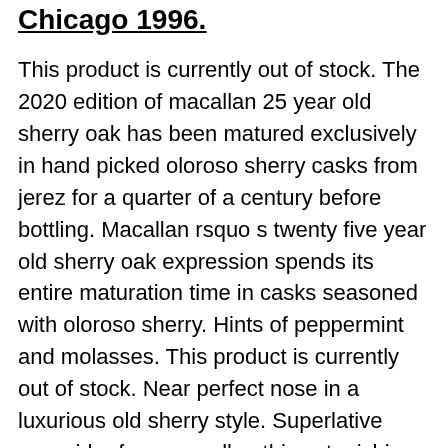Chicago 1996.
This product is currently out of stock. The 2020 edition of macallan 25 year old sherry oak has been matured exclusively in hand picked oloroso sherry casks from jerez for a quarter of a century before bottling. Macallan rsquo s twenty five year old sherry oak expression spends its entire maturation time in casks seasoned with oloroso sherry. Hints of peppermint and molasses. This product is currently out of stock. Near perfect nose in a luxurious old sherry style. Superlative speysider from macallan this astonishing 25 year old is one of the most revered whiskies in the world. This special single malt delivers an intensely rich and full flavour character citrus dried fruits and wood smoke. 70cl 43 add to wishlist. Speyside single malt scotch whisky. This creates aromas of orange cinnamon sherry and wood smoke on the nose complemented by notes of dried fruit and crystalised ginger throughout the